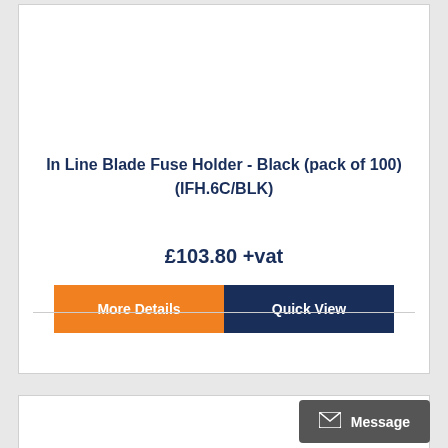In Line Blade Fuse Holder - Black (pack of 100) (IFH.6C/BLK)
£103.80 +vat
More Details
Quick View
Message